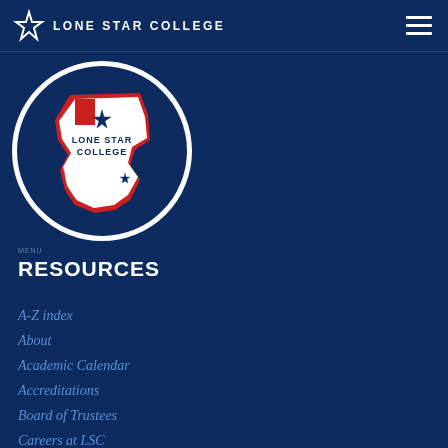Lone Star College
[Figure (logo): Lone Star College circular seal with Texas state outline in red, white and blue, with star and college name]
RESOURCES
A-Z index
About
Academic Calendar
Accreditations
Board of Trustees
Careers at LSC
Contact Directory
Disability Services